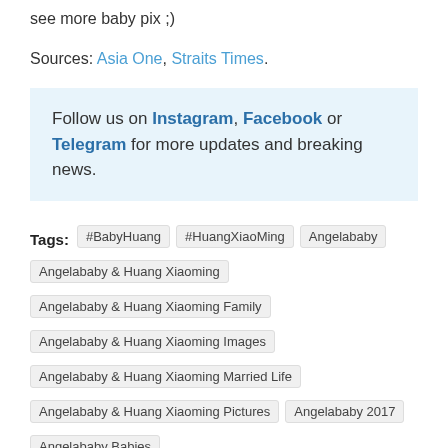see more baby pix ;)
Sources: Asia One, Straits Times.
Follow us on Instagram, Facebook or Telegram for more updates and breaking news.
#BabyHuang
#HuangXiaoMing
Angelababy
Angelababy & Huang Xiaoming
Angelababy & Huang Xiaoming Family
Angelababy & Huang Xiaoming Images
Angelababy & Huang Xiaoming Married Life
Angelababy & Huang Xiaoming Pictures
Angelababy 2017
Angelababy Babies
Angelababy Expecting
Angelababy Family
Angelababy First Child
Angelababy Having A Baby
Angelababy Huang Xiaoming baby boy
Angelababy Huang Xiaoming first child
Angelababy Huang Xiaoming son
Angelababy Husband
Angelababy Yang Ying
Angelababy 杨颖
Baby
Huang Xiaoming
Huang Xiaoming Angelababy Couple